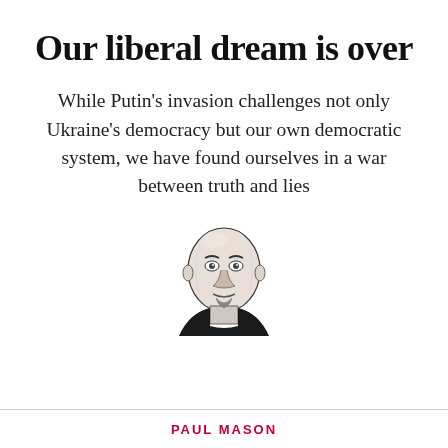Our liberal dream is over
While Putin's invasion challenges not only Ukraine's democracy but our own democratic system, we have found ourselves in a war between truth and lies
[Figure (illustration): Black and white sketch/illustration portrait of Paul Mason, a bald middle-aged man with a goatee wearing a dark top]
PAUL MASON